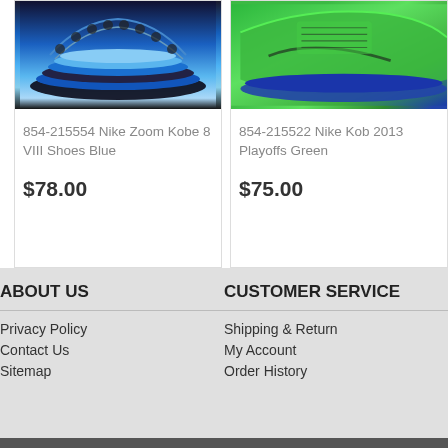[Figure (photo): Nike Zoom Kobe 8 VIII Shoes in blue colorway, viewed from below/side angle showing blue and black sole pattern]
854-215554 Nike Zoom Kobe 8 VIII Shoes Blue
$78.00
[Figure (photo): Nike Kobe 2013 Playoffs shoes in green and blue colorway, side profile view]
854-215522 Nike Kob 2013 Playoffs Green
$75.00
ABOUT US
Privacy Policy
Contact Us
Sitemap
CUSTOMER SERVICE
Shipping & Return
My Account
Order History